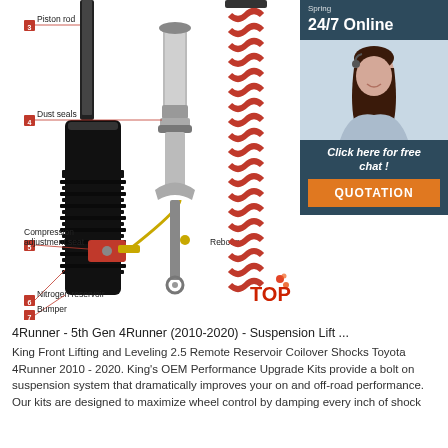[Figure (engineering-diagram): Exploded diagram of a coilover shock absorber assembly with labeled parts: (3) Piston rod, (4) Dust seals, (5) Compression adjustment seat, (6) Nitrogen reservoir, (7) Bumper. Also shows red coil spring and full shock absorber. Side panel shows customer service agent with '24/7 Online' text, 'Click here for free chat!' and QUOTATION button.]
4Runner - 5th Gen 4Runner (2010-2020) - Suspension Lift ...
King Front Lifting and Leveling 2.5 Remote Reservoir Coilover Shocks Toyota 4Runner 2010 - 2020. King's OEM Performance Upgrade Kits provide a bolt on suspension system that dramatically improves your on and off-road performance. Our kits are designed to maximize wheel control by damping every inch of shock